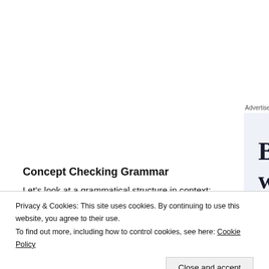[Figure (screenshot): Advertisement banner with light blue/grey background showing text: 'Build a writing habit. Post on the go.']
Concept Checking Grammar
Let’s look at a grammatical structure in context:
Privacy & Cookies: This site uses cookies. By continuing to use this website, you agree to their use.
To find out more, including how to control cookies, see here: Cookie Policy
Close and accept